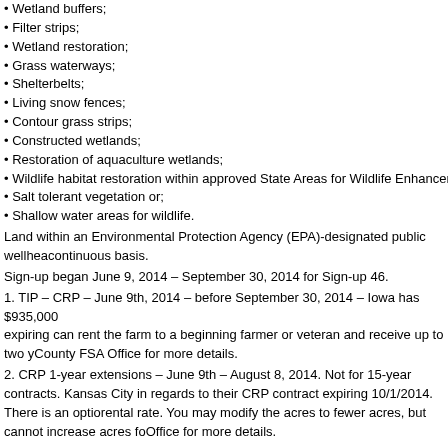• Wetland buffers;
• Filter strips;
• Wetland restoration;
• Grass waterways;
• Shelterbelts;
• Living snow fences;
• Contour grass strips;
• Constructed wetlands;
• Restoration of aquaculture wetlands;
• Wildlife habitat restoration within approved State Areas for Wildlife Enhancement
• Salt tolerant vegetation or;
• Shallow water areas for wildlife.
Land within an Environmental Protection Agency (EPA)-designated public wellhead continuous basis.
Sign-up began June 9, 2014 – September 30, 2014 for Sign-up 46.
1. TIP – CRP – June 9th, 2014 – before September 30, 2014 – Iowa has $935,000 expiring can rent the farm to a beginning farmer or veteran and receive up to two y County FSA Office for more details.
2. CRP 1-year extensions – June 9th – August 8, 2014. Not for 15-year contracts. Kansas City in regards to their CRP contract expiring 10/1/2014. There is an option rental rate. You may modify the acres to fewer acres, but cannot increase acres for Office for more details.
Bank Account Changes
Current policy mandates that FSA payments be electronically transferred into a ban and you have agreed to notify the FSA county office when your account has changed.